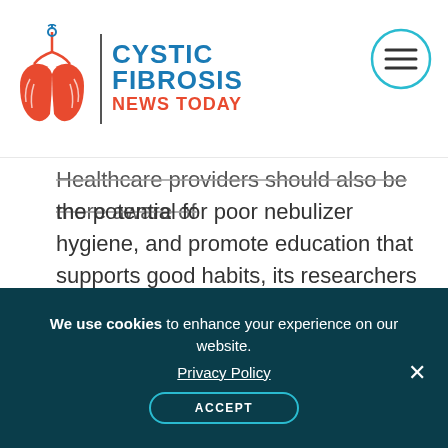Cystic Fibrosis News Today
Healthcare providers should also be more aware of the potential for poor nebulizer hygiene, and promote education that supports good habits, its researchers recommended.
Advertisement
We use cookies to enhance your experience on our website. Privacy Policy ACCEPT